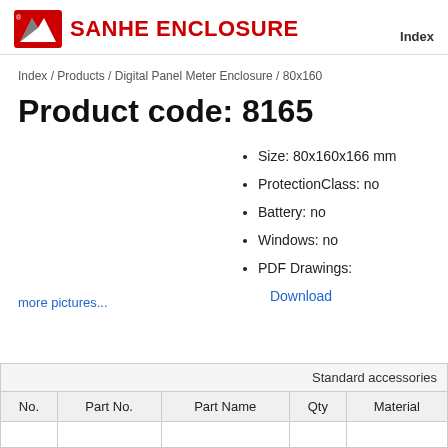SANHE ENCLOSURE | Index
Index / Products / Digital Panel Meter Enclosure / 80x160
Product code: 8165
Size: 80x160x166 mm
ProtectionClass: no
Battery: no
Windows: no
PDF Drawings: Download
more pictures...
| No. | Part No. | Part Name | Qty | Material |
| --- | --- | --- | --- | --- |